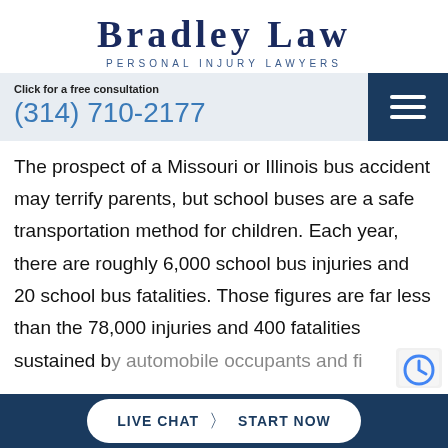BRADLEY LAW
PERSONAL INJURY LAWYERS
Click for a free consultation
(314) 710-2177
The prospect of a Missouri or Illinois bus accident may terrify parents, but school buses are a safe transportation method for children. Each year, there are roughly 6,000 school bus injuries and 20 school bus fatalities. Those figures are far less than the 78,000 injuries and 400 fatalities sustained by automobile occupants and fi